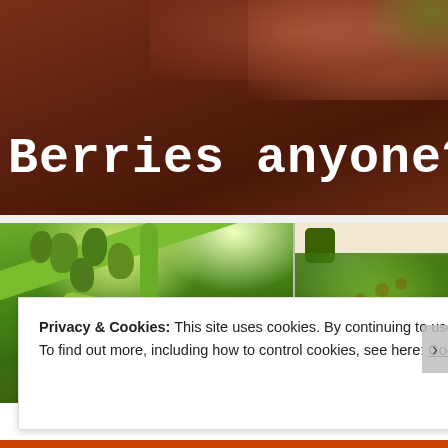[Figure (photo): Website banner with dark reddish-brown background showing a close-up of a hand or skin texture, with large white serif/monospace text reading 'Berries anyone?']
[Figure (photo): Two side-by-side photos of green tomato plants. Left photo shows close-up of green tomatoes hanging on vine stems. Right photo shows a hanging basket or vertical garden with tomato plants and some red tomatoes visible.]
Privacy & Cookies: This site uses cookies. By continuing to use this website, you agree to their use.
To find out more, including how to control cookies, see here: Cookie Policy
Close and accept